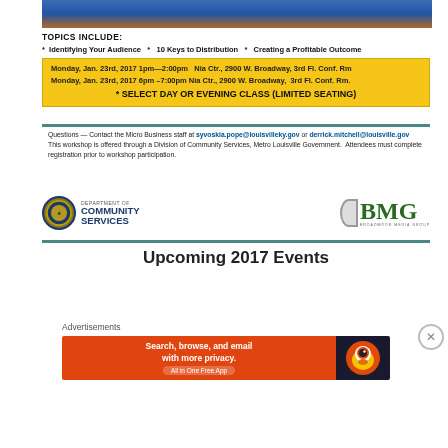[Figure (photo): Top banner image showing a blue and gold emblem/seal partially visible]
TOPICS INCLUDE:
* Identifying Your Audience  *  10 Keys to Distribution  *  Creating a Profitable Outcome
Monday, Jan. 23rd, 2017 1pm—2:00pm  Nia Ctr., 2900 W. Broadway, 3rd Fl. Conf. Rm
Monday, Jan. 23rd, 2017 6pm –7:00pm Nia Ctr., 2900 W. Broadway,  3rd Fl. Conf. Rm.
* SELECT DAY OR EVENING CLASS (LIMITED SEATING)
Questions — Contact the Micro Business staff at syvoskia.pope@louisvilleky.gov or derrick.mitchell@louisville.gov  This workshop is offered through a Division of Community Services, Metro Louisville Government.  Attendees must complete registration prior to workshop participation.
[Figure (logo): Department of Community Services logo with seal]
[Figure (logo): BMG (Broadmoor Media Group) logo]
Upcoming 2017 Events
Advertisements
[Figure (other): DuckDuckGo advertisement banner - Search, browse, and email with more privacy. All in One Free App]